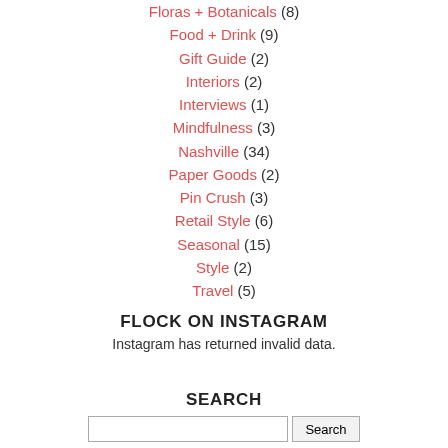Floras + Botanicals (8)
Food + Drink (9)
Gift Guide (2)
Interiors (2)
Interviews (1)
Mindfulness (3)
Nashville (34)
Paper Goods (2)
Pin Crush (3)
Retail Style (6)
Seasonal (15)
Style (2)
Travel (5)
FLOCK ON INSTAGRAM
Instagram has returned invalid data.
SEARCH